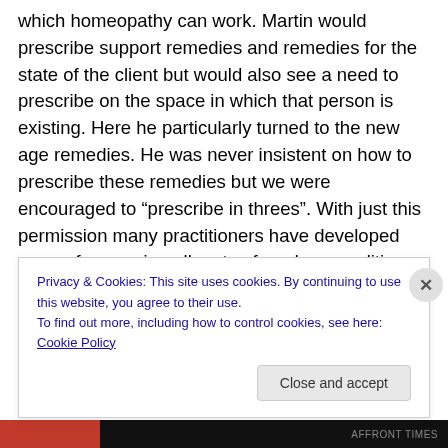which homeopathy can work. Martin would prescribe support remedies and remedies for the state of the client but would also see a need to prescribe on the space in which that person is existing. Here he particularly turned to the new age remedies. He was never insistent on how to prescribe these remedies but we were encouraged to “prescribe in threes”. With just this permission many practitioners have developed ways of accessing all sorts of modern conditions: Autism, Aids, Gulf war syndrome, drug toxicity, living without roots, absence of any spiritual connection.
Privacy & Cookies: This site uses cookies. By continuing to use this website, you agree to their use.
To find out more, including how to control cookies, see here: Cookie Policy